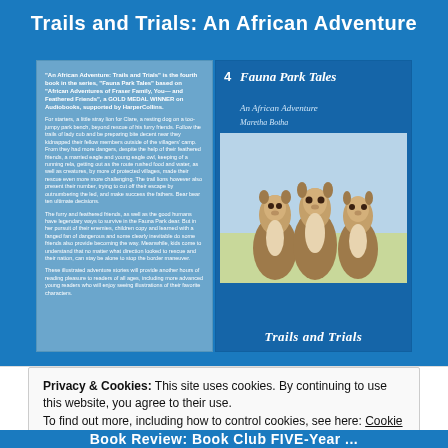Trails and Trials: An African Adventure
[Figure (illustration): Book cover display showing back and front covers of 'Fauna Park Tales: Trails and Trials' by Maretha Botha, #4 in the series, featuring meerkats illustrated on the front cover, set against a blue background.]
Privacy & Cookies: This site uses cookies. By continuing to use this website, you agree to their use.
To find out more, including how to control cookies, see here: Cookie Policy
Close and accept
Book Review: Book Club FIVE-Year ...